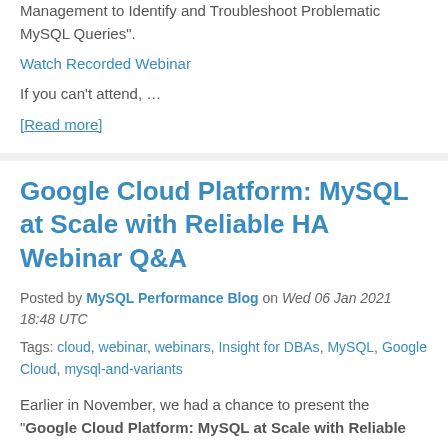Management to Identify and Troubleshoot Problematic MySQL Queries".
Watch Recorded Webinar
If you can't attend, …
[Read more]
Google Cloud Platform: MySQL at Scale with Reliable HA Webinar Q&A
Posted by MySQL Performance Blog on Wed 06 Jan 2021 18:48 UTC
Tags: cloud, webinar, webinars, Insight for DBAs, MySQL, Google Cloud, mysql-and-variants
Earlier in November, we had a chance to present the "Google Cloud Platform: MySQL at Scale with Reliable